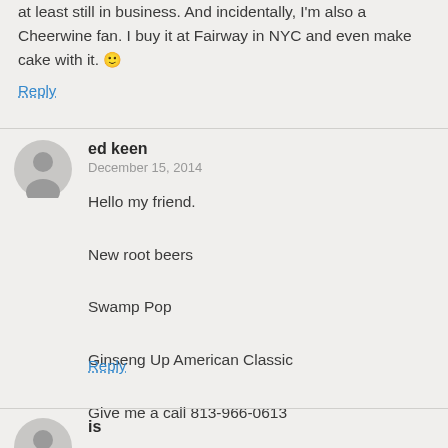at least still in business. And incidentally, I'm also a Cheerwine fan. I buy it at Fairway in NYC and even make cake with it. 🙂
Reply
ed keen
December 15, 2014
Hello my friend.

New root beers

Swamp Pop

Ginseng Up American Classic

Give me a call 813-966-0613

Love to spend a minute or two with you.
Reply
is